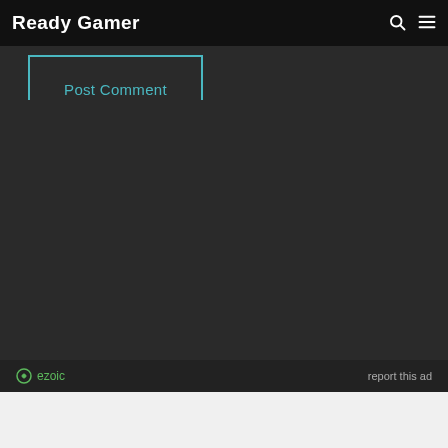Ready Gamer
Post Comment
ezoic  report this ad